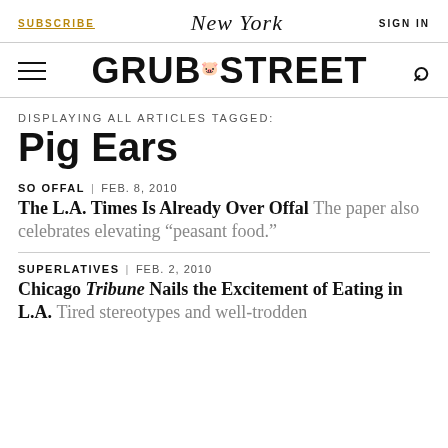SUBSCRIBE | New York | SIGN IN
[Figure (logo): Grub Street logo with hamburger menu and search icon]
DISPLAYING ALL ARTICLES TAGGED:
Pig Ears
SO OFFAL | FEB. 8, 2010
The L.A. Times Is Already Over Offal The paper also celebrates elevating “peasant food.”
SUPERLATIVES | FEB. 2, 2010
Chicago Tribune Nails the Excitement of Eating in L.A. Tired stereotypes and well-trodden